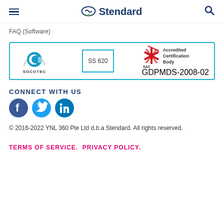Stendard
FAQ (Software)
[Figure (logo): SOCOTEC Certification International logo with SS 620 certification mark and SAC Accredited Certification Body mark, GDPMDS-2008-02]
CONNECT WITH US
[Figure (illustration): Social media icons: Facebook, Twitter, LinkedIn]
© 2016-2022 YNL 360 Pte Ltd d.b.a Stendard. All rights reserved.
TERMS OF SERVICE.  PRIVACY POLICY.